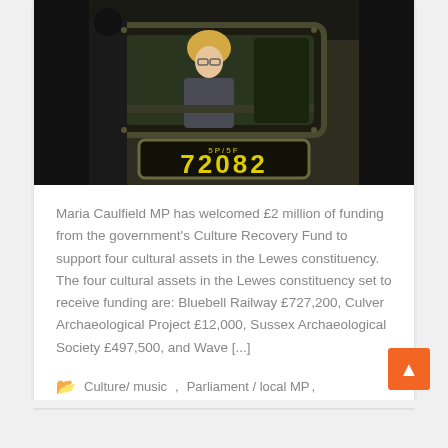[Figure (photo): Maria Caulfield MP leaning out of the cab window of a steam locomotive numbered 72082 (5P/5F), with another person visible to the left on the platform.]
Maria Caulfield MP has welcomed £2 million of funding from the government's Culture Recovery Fund to support four cultural assets in the Lewes constituency. The four cultural assets in the Lewes constituency set to receive funding are: Bluebell Railway £727,200, Culver Archaeological Project £12,000, Sussex Archaeological Society £497,500, and Wave [...]
Culture/ music,   Parliament / local MP,